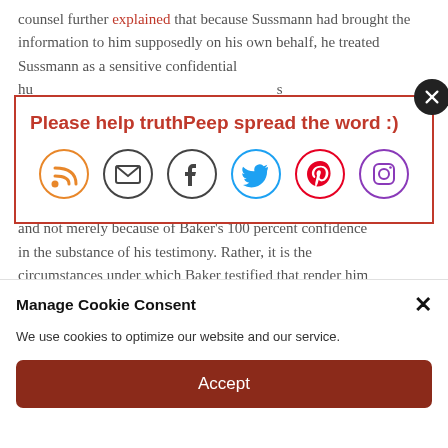counsel further explained that because Sussmann had brought the information to him supposedly on his own behalf, he treated Sussmann as a sensitive confidential hu... s in...
[Figure (infographic): Social share popup with red border. Title: 'Please help truthPeep spread the word :)'. Six circular social media icons: RSS (orange), Email (dark), Facebook (dark), Twitter (cyan), Pinterest (red), Instagram (purple gradient). Black circle X close button top-right.]
O... Ba... defe... and not merely because of Baker's 100 percent confidence in the substance of his testimony. Rather, it is the circumstances under which Baker testified that render him
Manage Cookie Consent
We use cookies to optimize our website and our service.
Accept